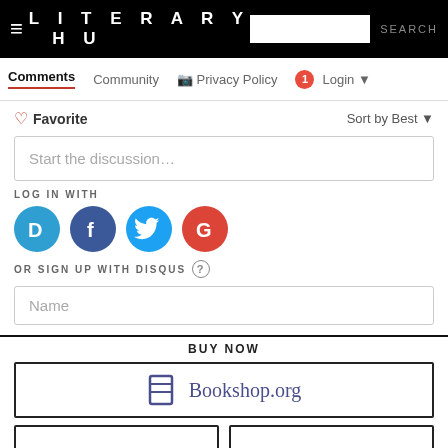LITERARY HU   SEARCH
Comments   Community   Privacy Policy   Login
♡ Favorite   Sort by Best
Start the discussion…
LOG IN WITH
[Figure (logo): Social login icons: Disqus (blue D), Facebook (dark blue f), Twitter (light blue bird), Google (red G)]
OR SIGN UP WITH DISQUS ?
Name
BUY NOW
[Figure (logo): Bookshop.org button with purple B logo and text]
[Figure (logo): INDIEBOUND button]
[Figure (logo): BARNES & NOBLE button with ampersand in orange]